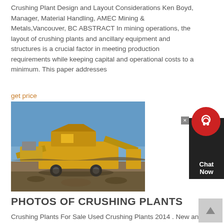Crushing Plant Design and Layout Considerations Ken Boyd, Manager, Material Handling, AMEC Mining & Metals,Vancouver, BC ABSTRACT In mining operations, the layout of crushing plants and ancillary equipment and structures is a crucial factor in meeting production requirements while keeping capital and operational costs to a minimum. This paper addresses
get price
[Figure (photo): Photograph of a yellow mobile crushing plant in operation at a mining/quarry site with blue sky background and rocky terrain.]
PHOTOS OF CRUSHING PLANTS
Crushing Plants For Sale‎ Used Crushing Plants‎ 2014 . New and used Crushing Plants for sale. We have 1000"s of listings for